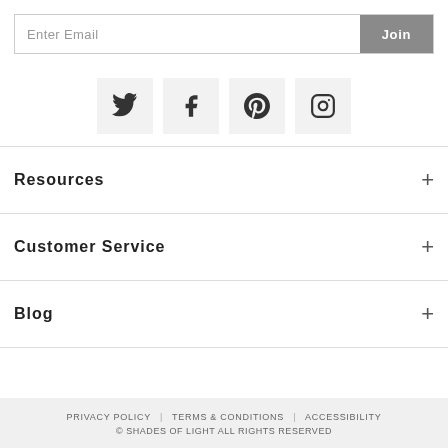[Figure (other): Email signup input box with placeholder 'Enter Email' and a grey 'Join' button on the right]
[Figure (other): Row of four social media icons on light grey square backgrounds: Twitter, Facebook, Pinterest, Instagram]
Resources
Customer Service
Blog
PRIVACY POLICY | TERMS & CONDITIONS | ACCESSIBILITY © SHADES OF LIGHT ALL RIGHTS RESERVED